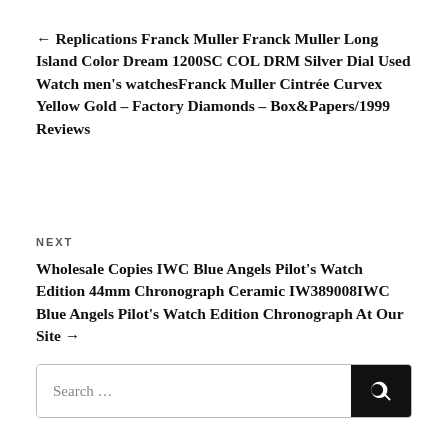← Replications Franck Muller Franck Muller Long Island Color Dream 1200SC COL DRM Silver Dial Used Watch men's watchesFranck Muller Cintrée Curvex Yellow Gold – Factory Diamonds – Box&Papers/1999 Reviews
NEXT
Wholesale Copies IWC Blue Angels Pilot's Watch Edition 44mm Chronograph Ceramic IW389008IWC Blue Angels Pilot's Watch Edition Chronograph At Our Site →